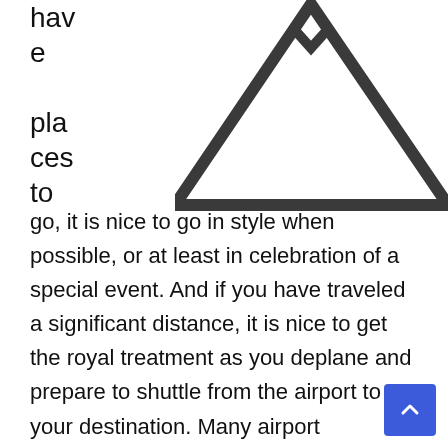[Figure (illustration): A large triangle outline (dark gray/black strokes) partially visible at the top of the page, with text fragments 'have places to' on the left side running alongside it.]
go, it is nice to go in style when possible, or at least in celebration of a special event. And if you have traveled a significant distance, it is nice to get the royal treatment as you deplane and prepare to shuttle from the airport to your destination. Many airport transportation companies offer more than the standard taxi or shuttle bus. You can find some of the best limo services amongst the many airport transportation companies, and sometimes your life just needs the excitement of being delivered to your destination in style.